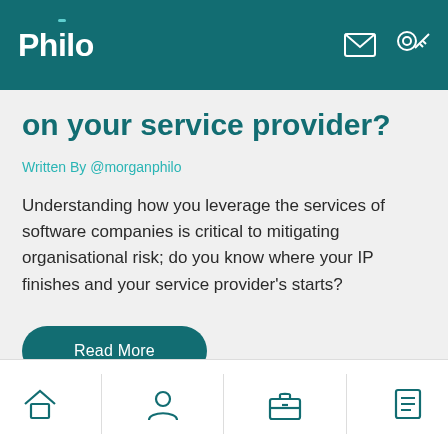Philo
on your service provider?
Written By @morganphilo
Understanding how you leverage the services of software companies is critical to mitigating organisational risk; do you know where your IP finishes and your service provider's starts?
Read More
Powered by - φ blog